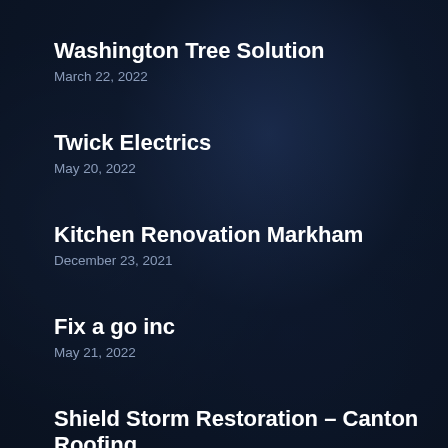Washington Tree Solution
March 22, 2022
Twick Electrics
May 20, 2022
Kitchen Renovation Markham
December 23, 2021
Fix a go inc
May 21, 2022
Shield Storm Restoration – Canton Roofing Contractor
August 2, 2022